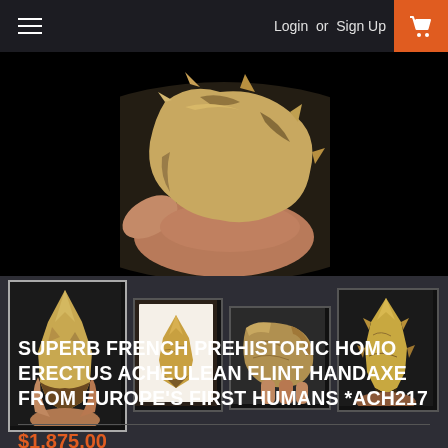Login or Sign Up
[Figure (photo): Close-up photo of a prehistoric flint handaxe being held by a hand, showing tan and brown coloring with knapped edges, against a black background]
[Figure (photo): Thumbnail 1: Arrowhead-shaped flint handaxe standing upright, tan and cream color, against dark background]
[Figure (photo): Thumbnail 2: Flint handaxe displayed in a black frame/shadow box, tan color, against white background]
[Figure (photo): Thumbnail 3: Side profile of flint handaxe being held, tan and gray color]
[Figure (photo): Thumbnail 4: Flint handaxe artifact, tan and cream color with dark base, against dark background]
SUPERB FRENCH PREHISTORIC HOMO ERECTUS ACHEULEAN FLINT HANDAXE FROM EUROPE'S FIRST HUMANS *ACH217
$1,875.00